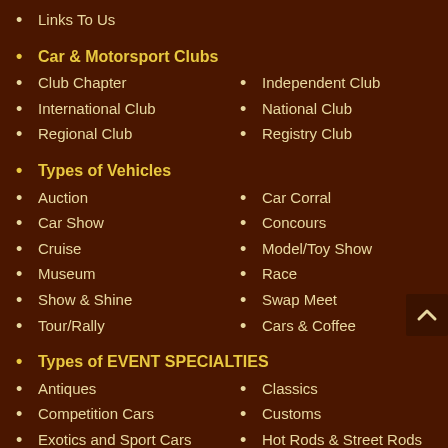Links To Us
Car & Motorsport Clubs
Club Chapter
Independent Club
International Club
National Club
Regional Club
Registry Club
Types of Vehicles
Auction
Car Corral
Car Show
Concours
Cruise
Model/Toy Show
Museum
Race
Show & Shine
Swap Meet
Tour/Rally
Cars & Coffee
Types of EVENT SPECIALTIES
Antiques
Classics
Competition Cars
Customs
Exotics and Sport Cars
Hot Rods & Street Rods
Imports
Mini/Micro Cars